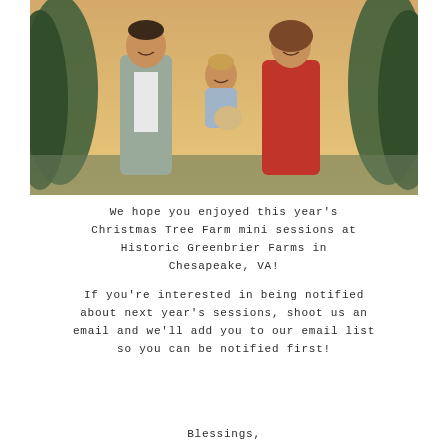[Figure (photo): A family photo of a man in a grey suit, a woman in a red dress, and a toddler being held between them, smiling outdoors at a Christmas tree farm with evergreen trees in the background.]
We hope you enjoyed this year's Christmas Tree Farm mini sessions at Historic Greenbrier Farms in Chesapeake, VA!
If you're interested in being notified about next year's sessions, shoot us an email and we'll add you to our email list so you can be notified first!
Blessings,